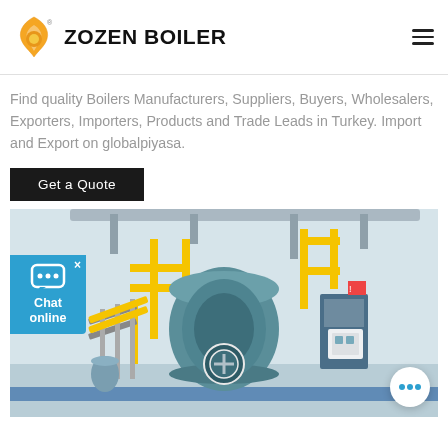ZOZEN BOILER
Find quality Boilers Manufacturers, Suppliers, Buyers, Wholesalers, Exporters, Importers, Products and Trade Leads in Turkey. Import and Export on globalpiyasa.
Get a Quote
[Figure (photo): Industrial boiler facility interior showing a large blue cylindrical boiler unit with yellow metal pipework and staircases, pipes on ceiling, control panels on the wall, and a blue floor stripe. Chat widget overlay on the left and a circular chat button on the bottom right.]